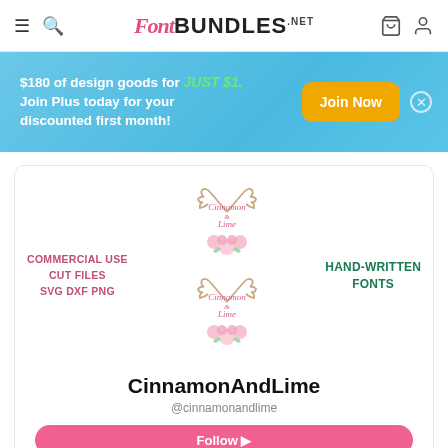FontBundles.net
$180 of design goods for JUST $1. Join Plus today for your discounted first month!
[Figure (logo): Cinnamon & Lime logo with antlers and floral decoration - shown twice (top and bottom versions)]
COMMERCIAL USE CUT FILES SVG DXF PNG
HAND-WRITTEN FONTS
CinnamonAndLime
@cinnamonandlime